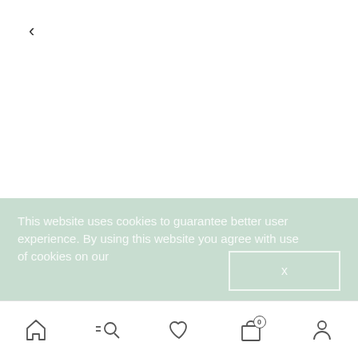<
This website uses cookies to guarantee better user experience. By using this website you agree with use of cookies on our
x
TAKE CARE OF DRY SKIN
[Figure (screenshot): Mobile app bottom navigation bar with home, search, heart/wishlist, bag with 0 badge, and profile icons]